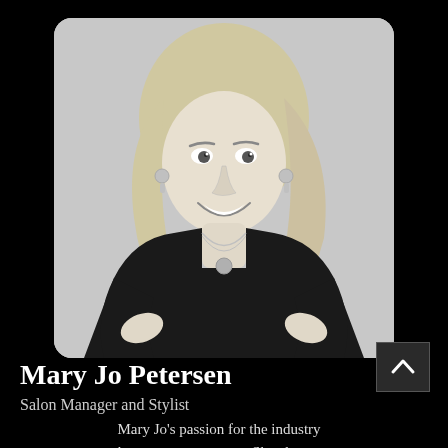[Figure (photo): Black and white portrait photo of Mary Jo Petersen, a smiling woman with blonde shoulder-length hair wearing a black t-shirt and layered necklaces, hands on hips, against a light background. Photo has rounded corners.]
Mary Jo Petersen
Salon Manager and Stylist
Mary Jo's passion for the industry began at a young age. She always